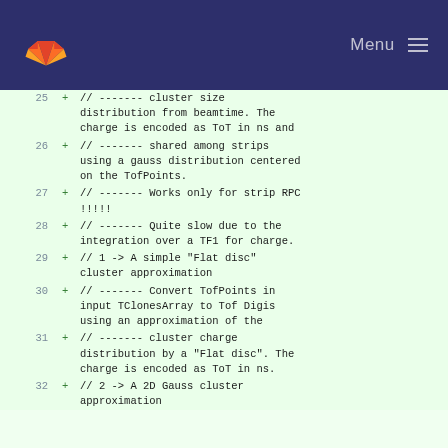GitLab Menu
| line | + | code |
| --- | --- | --- |
| 25 | + | // ------- cluster size distribution from beamtime. The charge is encoded as ToT in ns and |
| 26 | + | // ------- shared among strips using a gauss distribution centered on the TofPoints. |
| 27 | + | // ------- Works only for strip RPC !!!!! |
| 28 | + | // ------- Quite slow due to the integration over a TF1 for charge. |
| 29 | + | // 1 -> A simple "Flat disc" cluster approximation |
| 30 | + | // ------- Convert TofPoints in input TClonesArray to Tof Digis using an approximation of the |
| 31 | + | // ------- cluster charge distribution by a "Flat disc". The charge is encoded as ToT in ns. |
| 32 | + | // 2 -> A 2D Gauss cluster approximation |